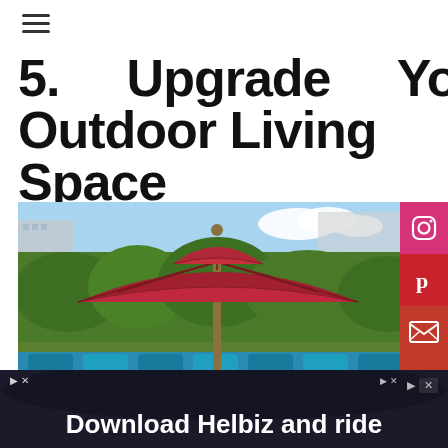≡
5.    Upgrade    Your Outdoor Living Space
[Figure (photo): A large red double-tier patio umbrella in an outdoor garden setting with blue cushioned seating and lush green trees in the background]
Download Helbiz and ride